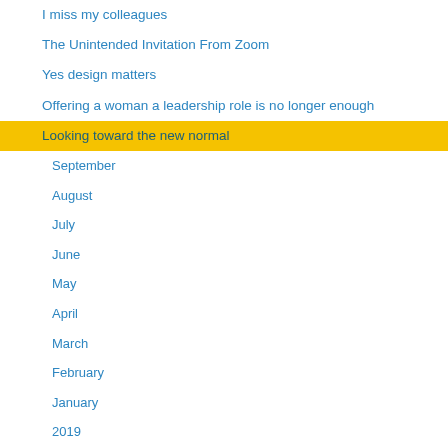I miss my colleagues
The Unintended Invitation From Zoom
Yes design matters
Offering a woman a leadership role is no longer enough
Looking toward the new normal
September
August
July
June
May
April
March
February
January
2019
2018
2017